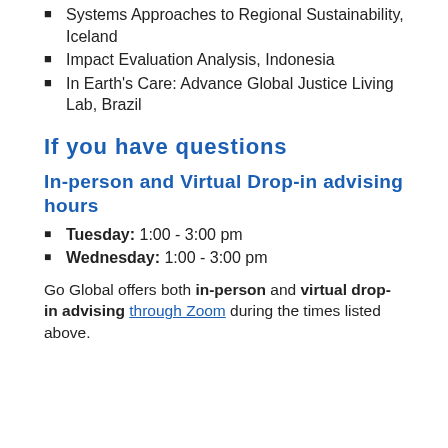Systems Approaches to Regional Sustainability, Iceland
Impact Evaluation Analysis, Indonesia
In Earth's Care: Advance Global Justice Living Lab, Brazil
If you have questions
In-person and Virtual Drop-in advising hours
Tuesday: 1:00 - 3:00 pm
Wednesday: 1:00 - 3:00 pm
Go Global offers both in-person and virtual drop-in advising through Zoom during the times listed above.